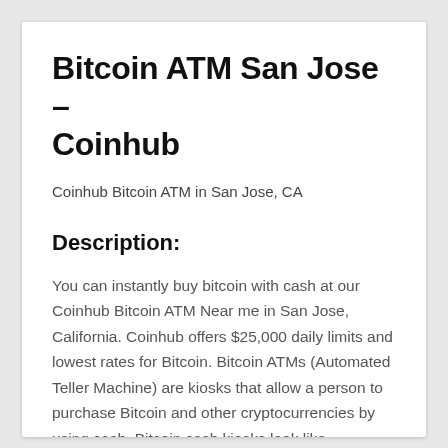Bitcoin ATM San Jose – Coinhub
Coinhub Bitcoin ATM in San Jose, CA
Description:
You can instantly buy bitcoin with cash at our Coinhub Bitcoin ATM Near me in San Jose, California. Coinhub offers $25,000 daily limits and lowest rates for Bitcoin. Bitcoin ATMs (Automated Teller Machine) are kiosks that allow a person to purchase Bitcoin and other cryptocurrencies by using cash. Bitcoin cash kiosks look like traditional ATMs, but do not connect to a bank account and instead connect the user directly to a Bitcoin wallet or exchange. Coinhub Bitcoin machines